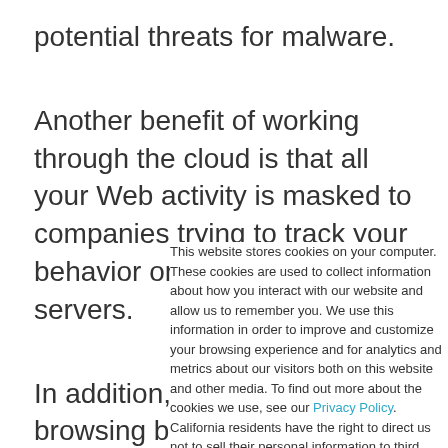potential threats for malware.
Another benefit of working through the cloud is that all your Web activity is masked to companies trying to track your behavior on the Net by VWC's servers.
In addition, since your browsing behavior is stored in VWC's cloud, you can log into Cocoon from any machine and have
This website stores cookies on your computer. These cookies are used to collect information about how you interact with our website and allow us to remember you. We use this information in order to improve and customize your browsing experience and for analytics and metrics about our visitors both on this website and other media. To find out more about the cookies we use, see our Privacy Policy. California residents have the right to direct us not to sell their personal information to third parties by filing an Opt-Out Request: Do Not Sell My Personal Info.
Accept